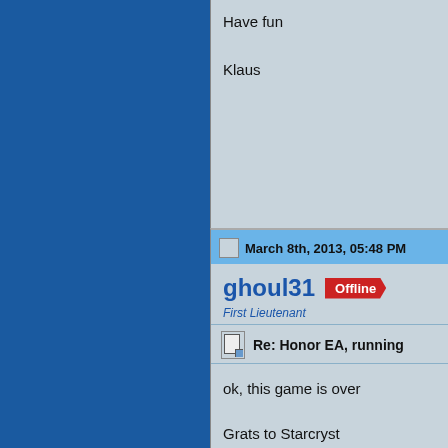Have fun

Klaus
March 8th, 2013, 05:48 PM
ghoul31  Offline
First Lieutenant
Re: Honor EA, running
ok, this game is over

Grats to Starcryst
The Following User Says Thank You to g
starcryst
[Figure (screenshot): Post Reply button with pencil icon]
Bookmarks
[Figure (screenshot): Row of bookmark/sharing icons]